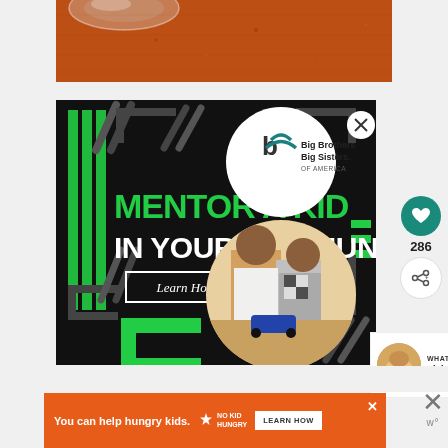[Figure (photo): Close-up photo of a textured orange-red surface (likely a clay or terracotta surface) with a glass bowl partially visible at the top left corner]
[Figure (screenshot): Advertisement for Big Brothers Big Sisters of America: dark background with green geometric shapes, text 'MENTOR A KID IN YOUR COMMUNITY.' with a 'Learn How' button, and photo of adult man and child working on a project]
[Figure (infographic): UI overlay showing heart/like button with count 286, share button, and What's Next panel showing 'Pink Velvet Ice Cream with...']
[Figure (photo): Bottom banner advertisement: orange background with white text 'You can help hungry kids.' and No Kid Hungry logo with 'LEARN HOW' button]